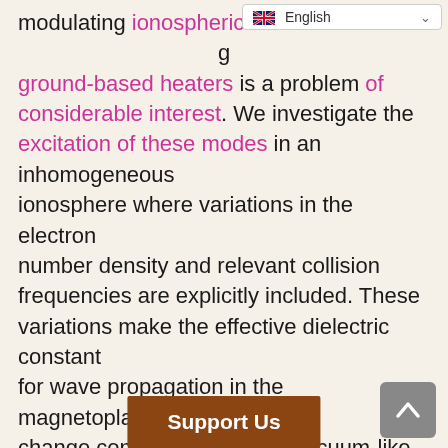modulating ionospheric electron density using ground-based heaters is a problem of considerable interest. We investigate the excitation of these modes in an inhomogeneous ionosphere where variations in the electron number density and relevant collision frequencies are explicitly included. These variations make the effective dielectric constant for wave propagation in the magnetoplasma change continuously from a vacuum-like lower D region, to a whistler dominated upper D and lower E region and finally an Alfven wave dominated upper E and lower F region. A natural consequence of the inhomogeneity is that certain harmonics of the modulation frequency are resonantly excited at larger